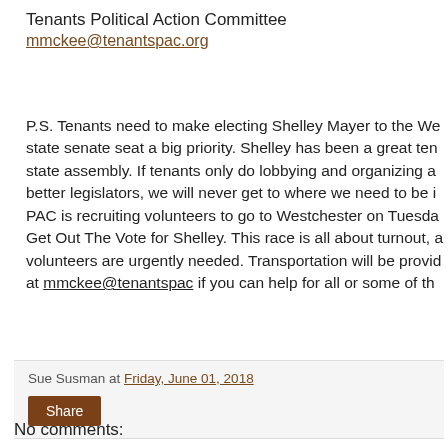Tenants Political Action Committee
mmckee@tenantspac.org
P.S. Tenants need to make electing Shelley Mayer to the Westchester state senate seat a big priority. Shelley has been a great ten… state assembly. If tenants only do lobbying and organizing a… better legislators, we will never get to where we need to be i… PAC is recruiting volunteers to go to Westchester on Tuesda… Get Out The Vote for Shelley. This race is all about turnout, a… volunteers are urgently needed. Transportation will be provid… at mmckee@tenantspac if you can help for all or some of th…
Sue Susman at Friday, June 01, 2018
Share
No comments: